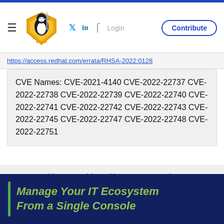[Figure (logo): Linux security shield penguin mascot logo]
Login
Contribute
https://access.redhat.com/errata/RHSA-2022:0128
CVE Names: CVE-2021-4140 CVE-2022-22737 CVE-2022-22738 CVE-2022-22739 CVE-2022-22740 CVE-2022-22741 CVE-2022-22742 CVE-2022-22743 CVE-2022-22745 CVE-2022-22747 CVE-2022-22748 CVE-2022-22751
We use cookies to provide and improve our services. By using our site, you consent to our Cookie Policy.
Accept
Learn More About Our Cookie Policy
Manage Your IT Ecosystem From a Single Console